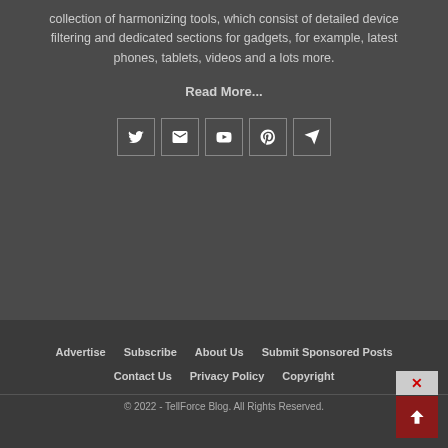collection of harmonizing tools, which consist of detailed device filtering and dedicated sections for gadgets, for example, latest phones, tablets, videos and a lots more.
Read More...
[Figure (infographic): Row of 5 social media icon boxes: Twitter, Email/Envelope, YouTube, Pinterest, Telegram/Send]
Advertise   Subscribe   About Us   Submit Sponsored Posts   Contact Us   Privacy Policy   Copyright
© 2022 - TellForce Blog. All Rights Reserved.